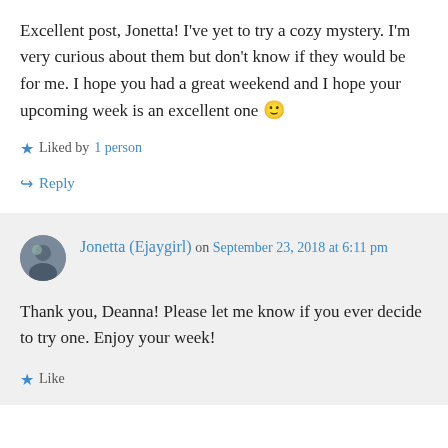Excellent post, Jonetta! I've yet to try a cozy mystery. I'm very curious about them but don't know if they would be for me. I hope you had a great weekend and I hope your upcoming week is an excellent one 🙂
★ Liked by 1 person
↳ Reply
Jonetta (Ejaygirl) on September 23, 2018 at 6:11 pm
Thank you, Deanna! Please let me know if you ever decide to try one. Enjoy your week!
★ Like